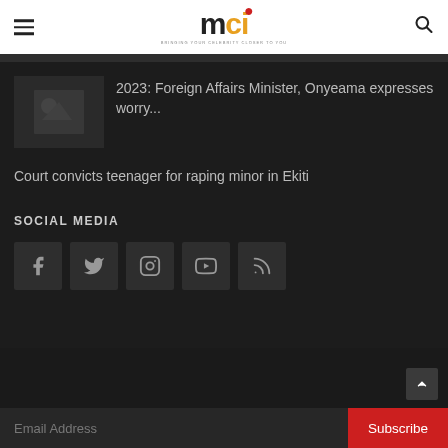[Figure (logo): MCI logo with hamburger menu and search icon in white header bar]
2023: Foreign Affairs Minister, Onyeama expresses worry...
Court convicts teenager for raping minor in Ekiti
SOCIAL MEDIA
[Figure (infographic): Social media icons: Facebook, Twitter, Instagram, YouTube, RSS]
Email Address
Subscribe